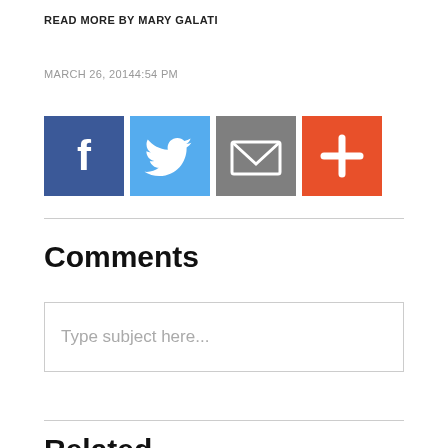READ MORE BY MARY GALATI
MARCH 26, 20144:54 PM
[Figure (infographic): Four social share buttons: Facebook (dark blue with f icon), Twitter (light blue with bird icon), Email (grey with envelope icon), More/Plus (orange-red with plus icon)]
Comments
Type subject here...
Related